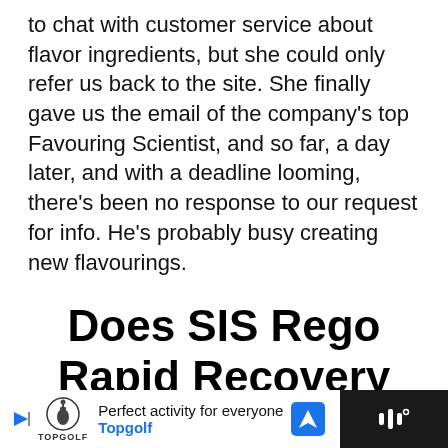to chat with customer service about flavor ingredients, but she could only refer us back to the site. She finally gave us the email of the company's top Favouring Scientist, and so far, a day later, and with a deadline looming, there's been no response to our request for info. He's probably busy creating new flavourings.
Does SIS Rego Rapid Recovery Work?
[Figure (other): Advertisement banner at bottom of page for Topgolf: 'Perfect activity for everyone' with Topgolf logo, navigation arrow icon, and dark background right section with audio/video icon]